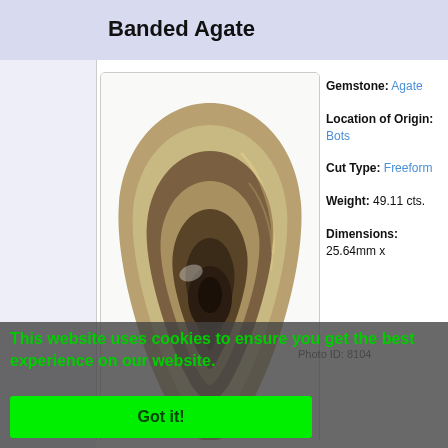Banded Agate
[Figure (photo): Polished banded agate gemstone with concentric brown, cream, and dark bands in freeform cabochon shape]
Gemstone: Agate
Location of Origin: Botswana
Cut Type: Freeform
Weight: 49.11 cts.
Dimensions: 25.64mm x
Photo ID: 8104
This website uses cookies to ensure you get the best experience on our website.
Got it!
Oval Cabochon Agate
Gemstone: Agate
Location of Origin: Brazil
Cut Type: Oval Cabochon